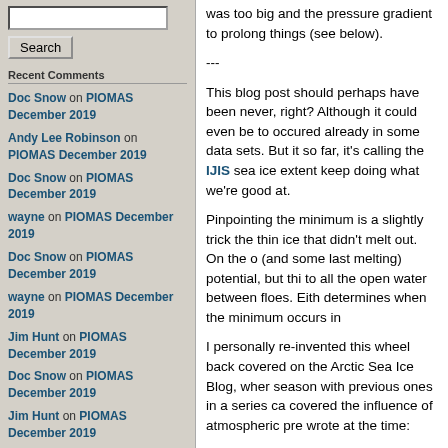Search input box
Search button
Recent Comments
Doc Snow on PIOMAS December 2019
Andy Lee Robinson on PIOMAS December 2019
Doc Snow on PIOMAS December 2019
wayne on PIOMAS December 2019
Doc Snow on PIOMAS December 2019
wayne on PIOMAS December 2019
Jim Hunt on PIOMAS December 2019
Doc Snow on PIOMAS December 2019
Jim Hunt on PIOMAS December 2019
was too big and the pressure gradient to prolong things (see below).
---
This blog post should perhaps have been never, right? Although it could even be to occured already in some data sets. But it so far, it's calling the IJIS sea ice extent keep doing what we're good at.
Pinpointing the minimum is a slightly trick the thin ice that didn't melt out. On the o (and some last melting) potential, but thi to all the open water between floes. Eith determines when the minimum occurs in
I personally re-invented this wheel back covered on the Arctic Sea Ice Blog, wher season with previous ones in a series ca covered the influence of atmospheric pr wrote at the time:
Atmospheric pressures determine (cyclones) and high-pressure are Along the edges of such systems